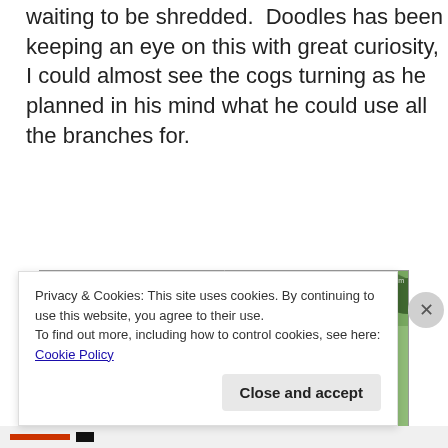waiting to be shredded. Doodles has been keeping an eye on this with great curiosity, I could almost see the cogs turning as he planned in his mind what he could use all the branches for.
[Figure (photo): Two side-by-side photos of a young boy in a blue sweater playing with large leafy branches in a garden. Below is a partial third row of photos. Watermark reads www.ourlittlehouseinthecountry.com]
Privacy & Cookies: This site uses cookies. By continuing to use this website, you agree to their use.
To find out more, including how to control cookies, see here: Cookie Policy
Close and accept